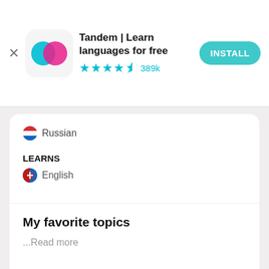[Figure (screenshot): Tandem app advertisement banner with app icon, title, star rating, and install button]
Russian
LEARNS
English
My favorite topics
...Read more
Get the app
Василь